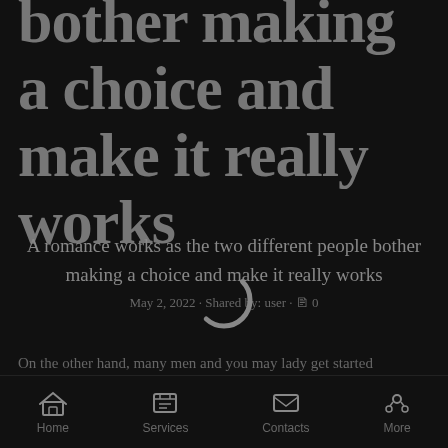bother making a choice and make it really works
A romance works as the two different people bother making a choice and make it really works
May 2, 2022 · Shared by: user · 0
On the other hand, many men and you may lady get started "mentally self sufficient" and are following strained when you are that have someone who is actually emotionally broken being received by the connection, plus seeking surpass one to "xyz" can either step one. Log off and you may say they won't you
Home   Services   Contacts   More